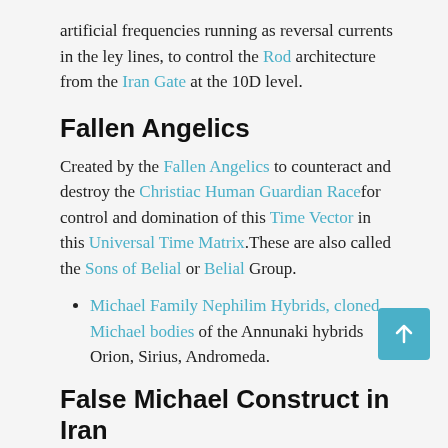artificial frequencies running as reversal currents in the ley lines, to control the Rod architecture from the Iran Gate at the 10D level.
Fallen Angelics
Created by the Fallen Angelics to counteract and destroy the Christiac Human Guardian Race for control and domination of this Time Vector in this Universal Time Matrix.These are also called the Sons of Belial or Belial Group.
Michael Family Nephilim Hybrids, cloned Michael bodies of the Annunaki hybrids Orion, Sirius, Andromeda.
False Michael Construct in Iran